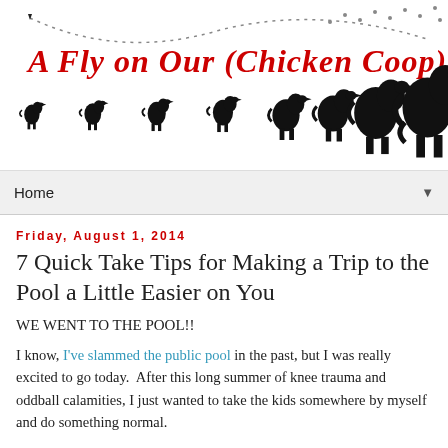[Figure (illustration): Blog header banner for 'A Fly on Our (Chicken Coop) Wall' showing red cursive text and silhouettes of chickens/roosters in increasing size from left to right, with a dotted line path.]
Home ▼
Friday, August 1, 2014
7 Quick Take Tips for Making a Trip to the Pool a Little Easier on You
WE WENT TO THE POOL!!
I know, I've slammed the public pool in the past, but I was really excited to go today.  After this long summer of knee trauma and oddball calamities, I just wanted to take the kids somewhere by myself and do something normal.